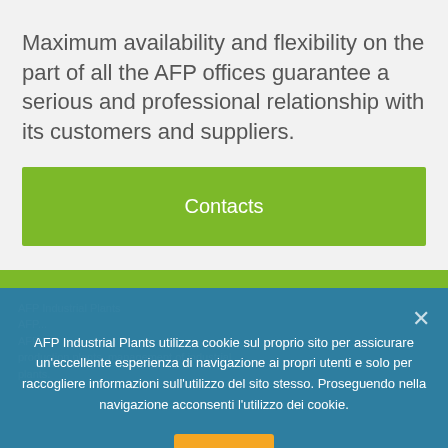Maximum availability and flexibility on the part of all the AFP offices guarantee a serious and professional relationship with its customers and suppliers.
Contacts
AFP Industrial Plants utilizza cookie sul proprio sito per assicurare un'eccellente esperienza di navigazione ai propri utenti e solo per raccogliere informazioni sull'utilizzo del sito stesso. Proseguendo nella navigazione acconsenti l'utilizzo dei cookie.
Ok